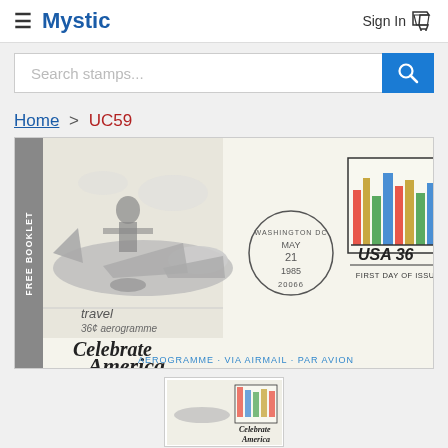Mystic | Sign In
Search stamps...
Home > UC59
[Figure (photo): First Day of Issue aerogramme envelope for USA 36, Celebrate America, postmarked Washington DC May 21 1985. The envelope shows an illustration of a jet airplane with travelers, the text 'travel 36¢ aerogramme' and 'Celebrate America' in script, plus 'AEROGRAMME · VIA AIRMAIL · PAR AVION'. The stamp area shows colorful city skyline graphics with USA 36 and FIRST DAY OF ISSUE text.]
[Figure (photo): Thumbnail image of the UC59 Celebrate America aerogramme envelope]